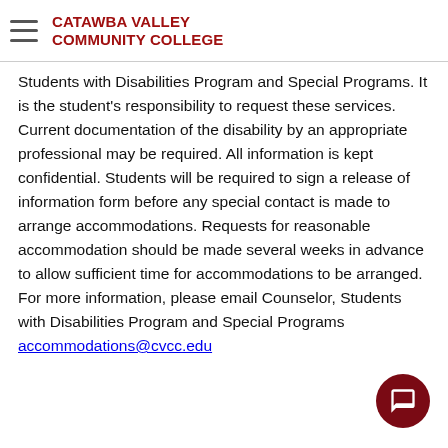CATAWBA VALLEY COMMUNITY COLLEGE
Students with Disabilities Program and Special Programs. It is the student's responsibility to request these services. Current documentation of the disability by an appropriate professional may be required. All information is kept confidential. Students will be required to sign a release of information form before any special contact is made to arrange accommodations. Requests for reasonable accommodation should be made several weeks in advance to allow sufficient time for accommodations to be arranged. For more information, please email Counselor, Students with Disabilities Program and Special Programs accommodations@cvcc.edu